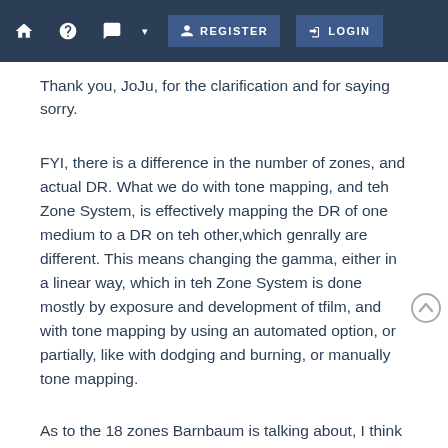🏠 ? 💬 ▾  REGISTER  LOGIN
Thank you, JoJu, for the clarification and for saying sorry.
FYI, there is a difference in the number of zones, and actual DR. What we do with tone mapping, and teh Zone System, is effectively mapping the DR of one medium to a DR on teh other,which genrally are different. This means changing the gamma, either in a linear way, which in teh Zone System is done mostly by exposure and development of tfilm, and with tone mapping by using an automated option, or partially, like with dodging and burning, or manually tone mapping.
As to the 18 zones Barnbaum is talking about, I think that